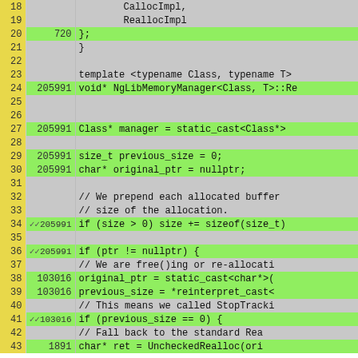[Figure (screenshot): Code coverage viewer showing C++ source lines 18-43 with line numbers, hit counts, and highlighted (green) lines indicating executed code. The code shows NgLibMemoryManager Realloc implementation with conditional logic for pointer handling.]